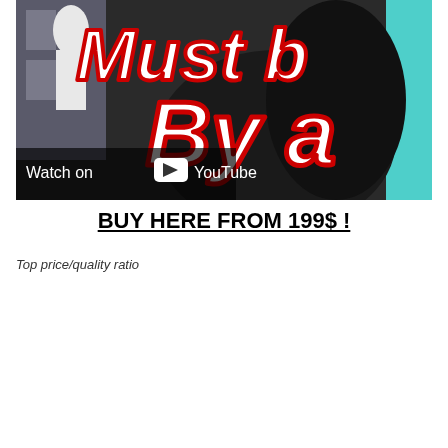[Figure (screenshot): YouTube video thumbnail showing partial text 'Must b...' and 'By a...' in large white italic letters with red outline, on a dark background with items. A 'Watch on YouTube' overlay is visible at the bottom left.]
BUY HERE FROM 199$ !
Top price/quality ratio